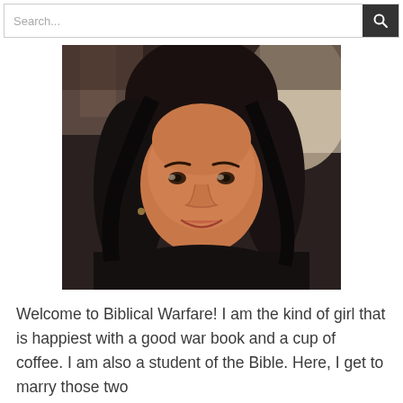Search...
[Figure (photo): Portrait photo of a woman with dark hair, smiling, wearing a dark top, taken in an indoor setting with soft background lighting.]
Welcome to Biblical Warfare! I am the kind of girl that is happiest with a good war book and a cup of coffee. I am also a student of the Bible. Here, I get to marry those two